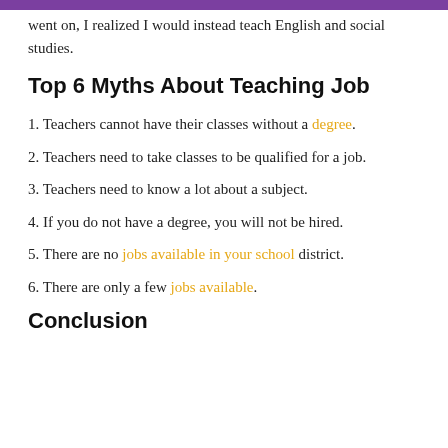went on, I realized I would instead teach English and social studies.
Top 6 Myths About Teaching Job
1. Teachers cannot have their classes without a degree.
2. Teachers need to take classes to be qualified for a job.
3. Teachers need to know a lot about a subject.
4. If you do not have a degree, you will not be hired.
5. There are no jobs available in your school district.
6. There are only a few jobs available.
Conclusion